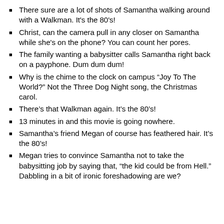There sure are a lot of shots of Samantha walking around with a Walkman. It's the 80's!
Christ, can the camera pull in any closer on Samantha while she's on the phone? You can count her pores.
The family wanting a babysitter calls Samantha right back on a payphone. Dum dum dum!
Why is the chime to the clock on campus “Joy To The World?” Not the Three Dog Night song, the Christmas carol.
There’s that Walkman again. It’s the 80’s!
13 minutes in and this movie is going nowhere.
Samantha’s friend Megan of course has feathered hair. It’s the 80’s!
Megan tries to convince Samantha not to take the babysitting job by saying that, “the kid could be from Hell.” Dabbling in a bit of ironic foreshadowing are we?